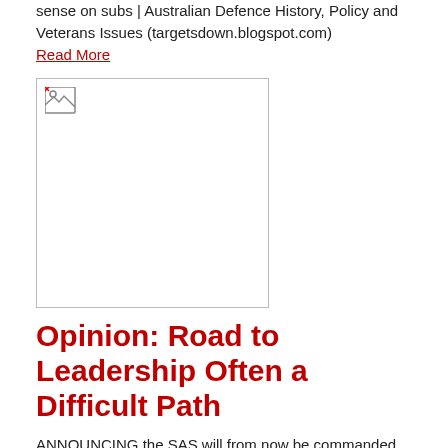sense on subs | Australian Defence History, Policy and Veterans Issues (targetsdown.blogspot.com)
Read More
[Figure (photo): Broken image placeholder icon in a bordered box]
Opinion: Road to Leadership Often a Difficult Path
ANNOUNCING the SAS will from now be commanded by a full colonel delivered an unintended insult to every serving Australian lieutenant colonel. Read More
Read More